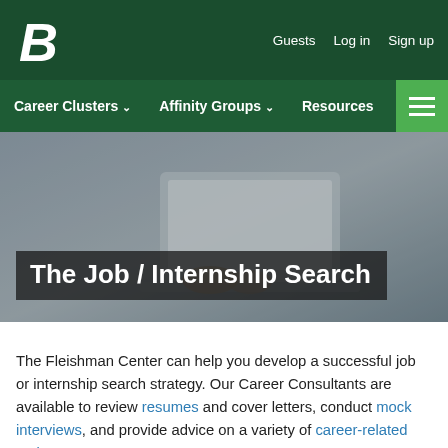Guests  Log in  Sign up
Career Clusters  Affinity Groups  Resources
[Figure (photo): Person sitting at a laptop computer, viewed from behind at a desk. Hero banner image for The Job / Internship Search page.]
The Job / Internship Search
The Fleishman Center can help you develop a successful job or internship search strategy. Our Career Consultants are available to review resumes and cover letters, conduct mock interviews, and provide advice on a variety of career-related topics.
Each semester, representatives from a variety of for-profit, government and non-profit organizations are available to connect with students and discuss both full-time employment and